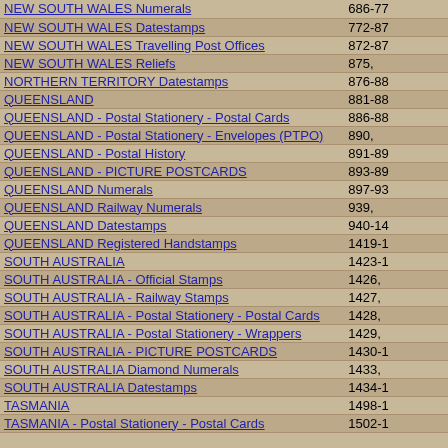| Entry | Pages |
| --- | --- |
| NEW SOUTH WALES Numerals | 686-77 |
| NEW SOUTH WALES Datestamps | 772-87 |
| NEW SOUTH WALES Travelling Post Offices | 872-87 |
| NEW SOUTH WALES Reliefs | 875, |
| NORTHERN TERRITORY Datestamps | 876-88 |
| QUEENSLAND | 881-88 |
| QUEENSLAND - Postal Stationery - Postal Cards | 886-88 |
| QUEENSLAND - Postal Stationery - Envelopes (PTPO) | 890, |
| QUEENSLAND - Postal History | 891-89 |
| QUEENSLAND - PICTURE POSTCARDS | 893-89 |
| QUEENSLAND Numerals | 897-93 |
| QUEENSLAND Railway Numerals | 939, |
| QUEENSLAND Datestamps | 940-14 |
| QUEENSLAND Registered Handstamps | 1419-1 |
| SOUTH AUSTRALIA | 1423-1 |
| SOUTH AUSTRALIA - Official Stamps | 1426, |
| SOUTH AUSTRALIA - Railway Stamps | 1427, |
| SOUTH AUSTRALIA - Postal Stationery - Postal Cards | 1428, |
| SOUTH AUSTRALIA - Postal Stationery - Wrappers | 1429, |
| SOUTH AUSTRALIA - PICTURE POSTCARDS | 1430-1 |
| SOUTH AUSTRALIA Diamond Numerals | 1433, |
| SOUTH AUSTRALIA Datestamps | 1434-1 |
| TASMANIA | 1498-1 |
| TASMANIA - Postal Stationery - Postal Cards | 1502-1 |